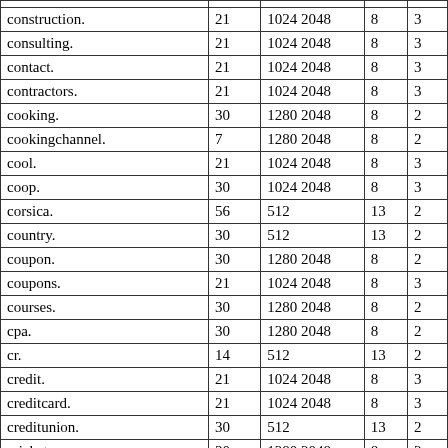|  |  |  |  |  |
| --- | --- | --- | --- | --- |
| construction. | 21 | 1024 2048 | 8 | 3 |
| consulting. | 21 | 1024 2048 | 8 | 3 |
| contact. | 21 | 1024 2048 | 8 | 3 |
| contractors. | 21 | 1024 2048 | 8 | 3 |
| cooking. | 30 | 1280 2048 | 8 | 2 |
| cookingchannel. | 7 | 1280 2048 | 8 | 2 |
| cool. | 21 | 1024 2048 | 8 | 3 |
| coop. | 30 | 1024 2048 | 8 | 3 |
| corsica. | 56 | 512 | 13 | 2 |
| country. | 30 | 512 | 13 | 2 |
| coupon. | 30 | 1280 2048 | 8 | 2 |
| coupons. | 21 | 1024 2048 | 8 | 3 |
| courses. | 30 | 1280 2048 | 8 | 2 |
| cpa. | 30 | 1280 2048 | 8 | 2 |
| cr. | 14 | 512 | 13 | 2 |
| credit. | 21 | 1024 2048 | 8 | 3 |
| creditcard. | 21 | 1024 2048 | 8 | 3 |
| creditunion. | 30 | 512 | 13 | 2 |
| cricket. | 30 | 1280 2048 | 8 | 2 |